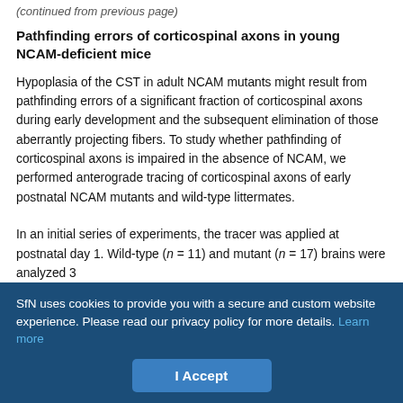(…continued from previous page…)
Pathfinding errors of corticospinal axons in young NCAM-deficient mice
Hypoplasia of the CST in adult NCAM mutants might result from pathfinding errors of a significant fraction of corticospinal axons during early development and the subsequent elimination of those aberrantly projecting fibers. To study whether pathfinding of corticospinal axons is impaired in the absence of NCAM, we performed anterograde tracing of corticospinal axons of early postnatal NCAM mutants and wild-type littermates.
In an initial series of experiments, the tracer was applied at postnatal day 1. Wild-type (n = 11) and mutant (n = 17) brains were analyzed 3
SfN uses cookies to provide you with a secure and custom website experience. Please read our privacy policy for more details. Learn more
I Accept